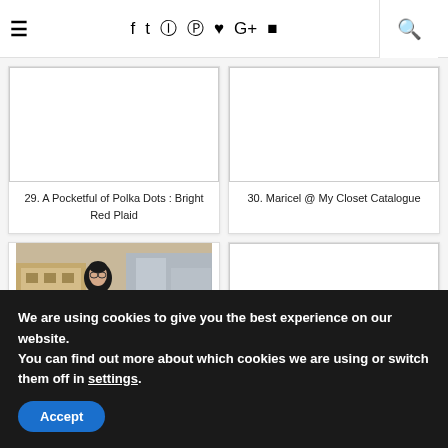≡   f  t  ⊙  ⊕  ♥  G+  ▶   🔍
[Figure (photo): Empty white image placeholder for card 29]
29. A Pocketful of Polka Dots : Bright Red Plaid
[Figure (photo): Empty white image placeholder for card 30]
30. Maricel @ My Closet Catalogue
[Figure (photo): Photo of a person in a black coat standing outside near buildings and trees]
[Figure (photo): Empty white image placeholder for card 32]
We are using cookies to give you the best experience on our website.
You can find out more about which cookies we are using or switch them off in settings.
Accept